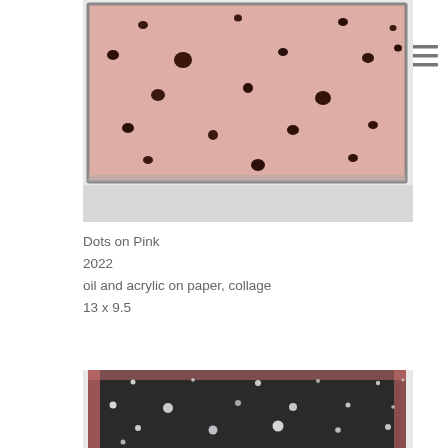[Figure (photo): A rectangular painting on paper with a pink/salmon background and scattered dark brown dots across the surface, with visible textured edges and a white border beneath.]
Dots on Pink
2022
oil and acrylic on paper, collage
13 x 9.5
[Figure (photo): A rectangular painting on paper with a dark charcoal/black background and scattered small white dots across the surface, with pink/coral edges visible around the border of the piece.]